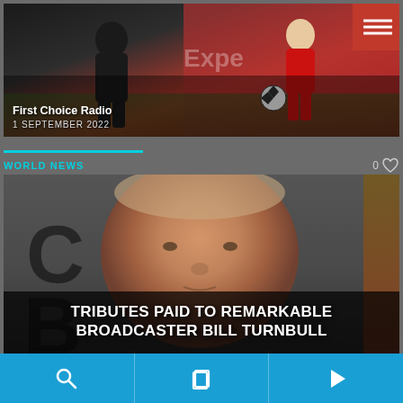[Figure (screenshot): Soccer/football match photo used as card background with players in action]
First Choice Radio
1 SEPTEMBER 2022
WORLD NEWS
[Figure (photo): Close-up portrait photo of broadcaster Bill Turnbull]
TRIBUTES PAID TO REMARKABLE BROADCASTER BILL TURNBULL
Navigation bar with search, pages, and play icons